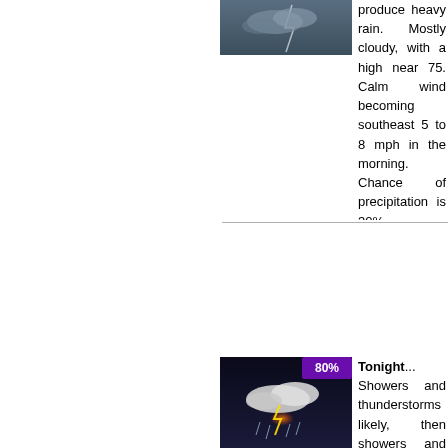[Figure (photo): Weather icon showing cloudy/rainy sky, dark blue-grey tones]
produce heavy rain. Mostly cloudy, with a high near 75. Calm wind becoming southeast 5 to 8 mph in the morning. Chance of precipitation is 30%.
[Figure (photo): Weather icon showing thunderstorm with lightning, dark background, 80% precipitation badge]
Tonight... Showers and thunderstorms likely, then showers and possibly a thunderstorm after midnight. Some of the storms could produce heavy rain. Low around 68. South